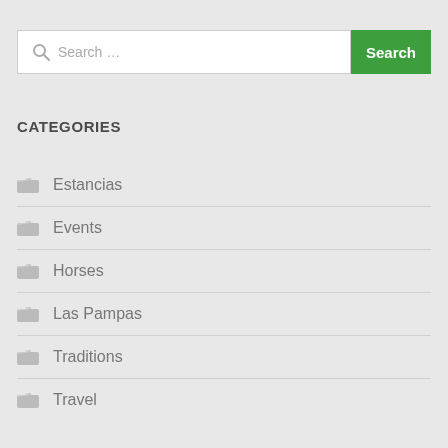[Figure (screenshot): Search bar with text input field showing 'Search …' placeholder and a green 'Search' button]
CATEGORIES
Estancias
Events
Horses
Las Pampas
Traditions
Travel